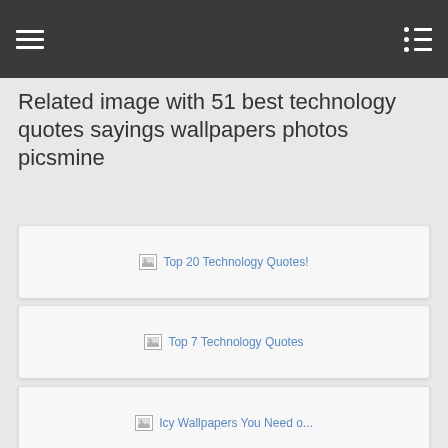≡  ≔
Related image with 51 best technology quotes sayings wallpapers photos picsmine
[Figure (screenshot): Broken image placeholder with text: Top 20 Technology Quotes!]
[Figure (screenshot): Broken image placeholder with text: Top 7 Technology Quotes]
[Figure (screenshot): Broken image placeholder with text: Icy Wallpapers You Need o...]
[Figure (screenshot): Broken image placeholder with text: The 70 Most Famous Quotes Of All Time]
Technology